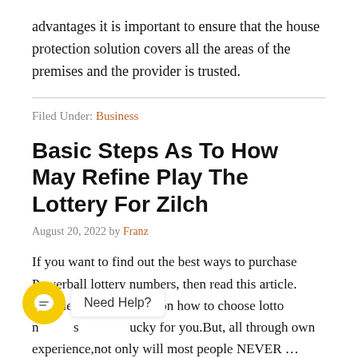advantages it is important to ensure that the house protection solution covers all the areas of the premises and the provider is trusted.
Filed Under: Business
Basic Steps As To How May Refine Play The Lottery For Zilch
August 20, 2022 by Franz
If you want to find out the best ways to purchase Powerball lottery numbers, then read this article. Rrt'll let you know tips on how to choose lotto numbers that are lucky for you.But, all through own experience,not only will most people NEVER …
[Figure (other): Chat widget with yellow circular icon and 'Need Help?' label]